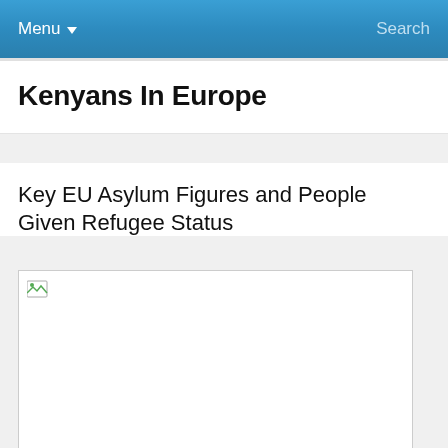Menu  Search
Kenyans In Europe
Key EU Asylum Figures and People Given Refugee Status
[Figure (other): Broken image placeholder for an article image related to EU Asylum Figures]